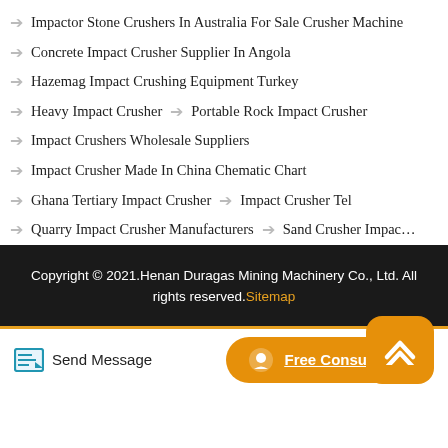Impactor Stone Crushers In Australia For Sale Crusher Machine
Concrete Impact Crusher Supplier In Angola
Hazemag Impact Crushing Equipment Turkey
Heavy Impact Crusher  →  Portable Rock Impact Crusher
Impact Crushers Wholesale Suppliers
Impact Crusher Made In China Chematic Chart
Ghana Tertiary Impact Crusher  →  Impact Crusher Tel
Quarry Impact Crusher Manufacturers  →  Sand Crusher Impac…
Copyright © 2021.Henan Duragas Mining Machinery Co., Ltd. All rights reserved. Sitemap
Send Message
Free Consultation